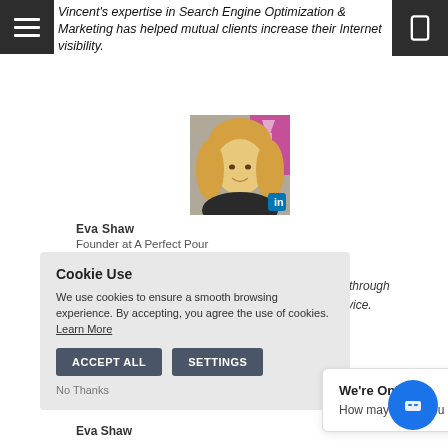Vincent's expertise in Search Engine Optimization & Marketing has helped mutual clients increase their Internet visibility.
[Figure (photo): Profile photo of Eva Shaw, a blonde woman, with LinkedIn badge overlay]
Eva Shaw
Founder at A Perfect Pour
...or those ...rofitability through ...nd his service.
Cookie Use
We use cookies to ensure a smooth browsing experience. By accepting, you agree the use of cookies. Learn More
ACCEPT ALL   SETTINGS
No Thanks
We're Online!
How may I help you today?
Eva Shaw